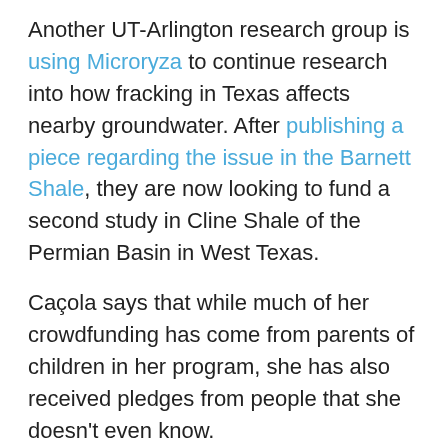Another UT-Arlington research group is using Microryza to continue research into how fracking in Texas affects nearby groundwater. After publishing a piece regarding the issue in the Barnett Shale, they are now looking to fund a second study in Cline Shale of the Permian Basin in West Texas.
Caçola says that while much of her crowdfunding has come from parents of children in her program, she has also received pledges from people that she doesn't even know.
“I’ve seen parents of kids in the program, but I’ve also seen parents that don’t have anything to do with it,” she says. “They believe in the research and thought I was doing something cool with the kids.”